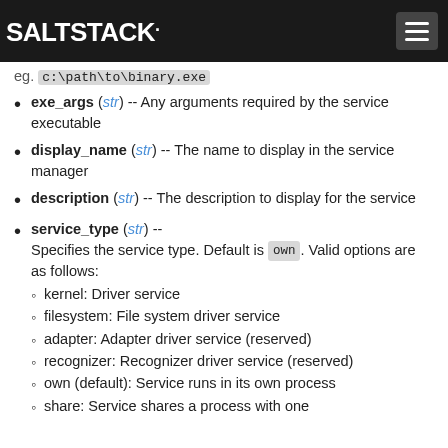SALTSTACK.
eg. c:\path\to\binary.exe
exe_args (str) -- Any arguments required by the service executable
display_name (str) -- The name to display in the service manager
description (str) -- The description to display for the service
service_type (str) -- Specifies the service type. Default is own. Valid options are as follows:
kernel: Driver service
filesystem: File system driver service
adapter: Adapter driver service (reserved)
recognizer: Recognizer driver service (reserved)
own (default): Service runs in its own process
share: Service shares a process with one